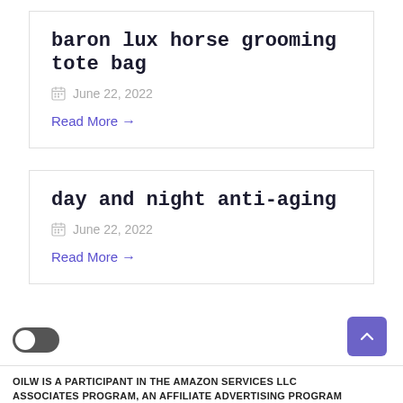baron lux horse grooming tote bag
June 22, 2022
Read More →
day and night anti-aging
June 22, 2022
Read More →
OILW IS A PARTICIPANT IN THE AMAZON SERVICES LLC ASSOCIATES PROGRAM, AN AFFILIATE ADVERTISING PROGRAM